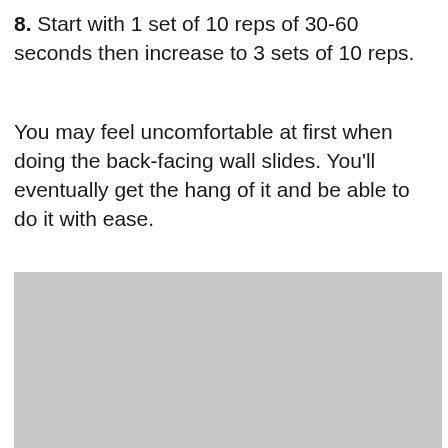8. Start with 1 set of 10 reps of 30-60 seconds then increase to 3 sets of 10 reps.
You may feel uncomfortable at first when doing the back-facing wall slides. You'll eventually get the hang of it and be able to do it with ease.
[Figure (photo): Gray placeholder image area, likely an exercise demonstration photograph]